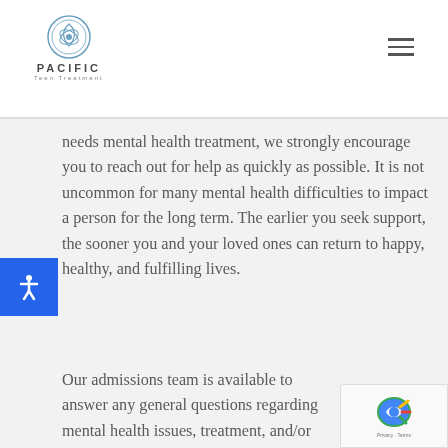PACIFIC Teen Treatment
needs mental health treatment, we strongly encourage you to reach out for help as quickly as possible. It is not uncommon for many mental health difficulties to impact a person for the long term. The earlier you seek support, the sooner you and your loved ones can return to happy, healthy, and fulfilling lives.
Our admissions team is available to answer any general questions regarding mental health issues, treatment, and/or